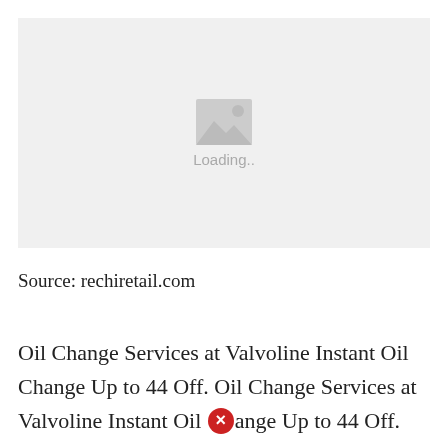[Figure (other): Image placeholder with a grey background, a mountain/photo icon, and the text 'Loading..' below the icon]
Source: rechiretail.com
Oil Change Services at Valvoline Instant Oil Change Up to 44 Off. Oil Change Services at Valvoline Instant Oil [X]ange Up to 44 Off.